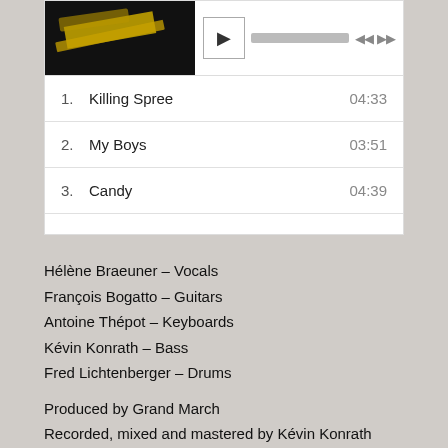[Figure (screenshot): Music player UI showing album art (dark with yellow brushstroke), play button, progress bar, skip controls, and a tracklist with 3 songs: 1. Killing Spree 04:33, 2. My Boys 03:51, 3. Candy 04:39]
Hélène Braeuner – Vocals
François Bogatto – Guitars
Antoine Thépot – Keyboards
Kévin Konrath – Bass
Fred Lichtenberger – Drums
Produced by Grand March
Recorded, mixed and mastered by Kévin Konrath
Artistic contributions:
Fanny Walz – Artwork and design
Benoît Linder – Photographs